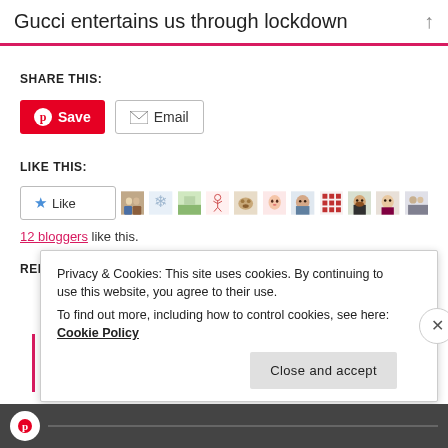Gucci entertains us through lockdown
SHARE THIS:
[Figure (screenshot): Pinterest Save button (red) and Email button (grey outline)]
LIKE THIS:
[Figure (screenshot): Like button with star icon and a strip of 12 blogger avatar thumbnails]
12 bloggers like this.
RELATED
Privacy & Cookies: This site uses cookies. By continuing to use this website, you agree to their use.
To find out more, including how to control cookies, see here: Cookie Policy
Close and accept